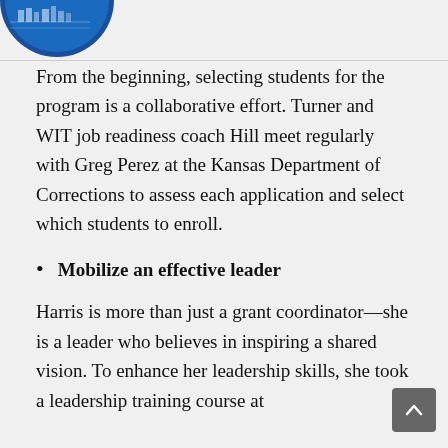[Figure (logo): Blue circular logo with building/institution image, partially visible in top-left corner]
From the beginning, selecting students for the program is a collaborative effort. Turner and WIT job readiness coach Hill meet regularly with Greg Perez at the Kansas Department of Corrections to assess each application and select which students to enroll.
Mobilize an effective leader
Harris is more than just a grant coordinator—she is a leader who believes in inspiring a shared vision. To enhance her leadership skills, she took a leadership training course at